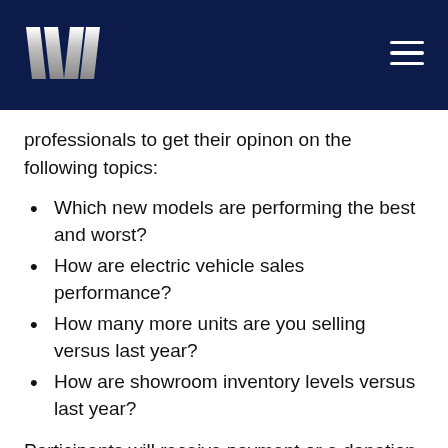W logo and navigation
professionals to get their opinon on the following topics:
Which new models are performing the best and worst?
How are electric vehicle sales performance?
How many more units are you selling versus last year?
How are showroom inventory levels versus last year?
Participants will receive payment or a donation to a charity of their choosing immediately after the call. Participants will